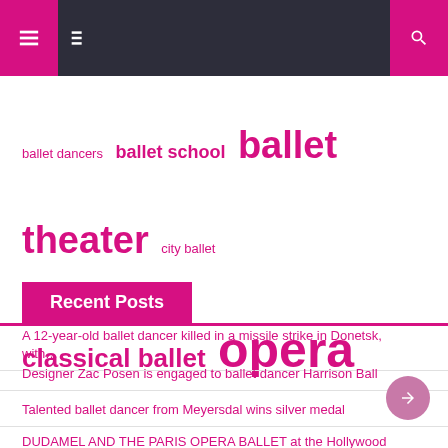Navigation bar with menu icon and search icon
ballet dancers  ballet school  ballet theater  city ballet  classical ballet  opera ballet  paris opera  principal dancer  royal ballet  united states  york city
Recent Posts
A 12-year-old ballet dancer killed in a missile strike in Donetsk, with…
Designer Zac Posen is engaged to ballet dancer Harrison Ball
Talented ballet dancer from Meyersdal wins silver medal
DUDAMEL AND THE PARIS OPERA BALLET at the Hollywood Bowl – Music